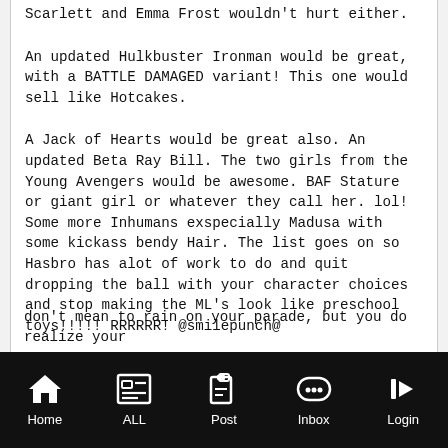Scarlett and Emma Frost wouldn't hurt either.
An updated Hulkbuster Ironman would be great, with a BATTLE DAMAGED variant! This one would sell like Hotcakes.
A Jack of Hearts would be great also. An updated Beta Ray Bill. The two girls from the Young Avengers would be awesome. BAF Stature or giant girl or whatever they call her. lol! Some more Inhumans exspecially Madusa with some kickass bendy Hair. The list goes on so Hasbro has alot of work to do and quit dropping the ball with your character choices and stop making the ML's look like preschool toys!!!!! RRRRRR! @smilepunch@
don't mean to rain on your parade, but you do realize your
Home   ALL   Post   Inbox   Login